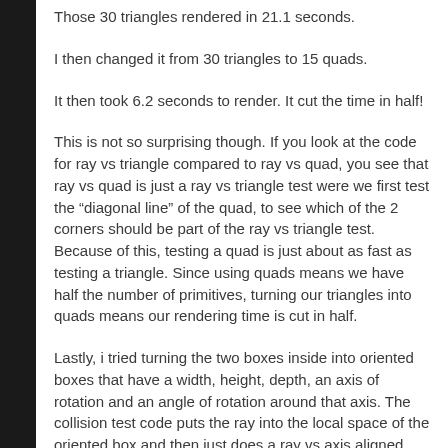Those 30 triangles rendered in 21.1 seconds.
I then changed it from 30 triangles to 15 quads.
It then took 6.2 seconds to render. It cut the time in half!
This is not so surprising though. If you look at the code for ray vs triangle compared to ray vs quad, you see that ray vs quad is just a ray vs triangle test were we first test the “diagonal line” of the quad, to see which of the 2 corners should be part of the ray vs triangle test. Because of this, testing a quad is just about as fast as testing a triangle. Since using quads means we have half the number of primitives, turning our triangles into quads means our rendering time is cut in half.
Lastly, i tried turning the two boxes inside into oriented boxes that have a width, height, depth, an axis of rotation and an angle of rotation around that axis. The collision test code puts the ray into the local space of the oriented box and then just does a ray vs axis aligned box test.
Doing that, i ended up with 5 quads (for the box that doesn’t have